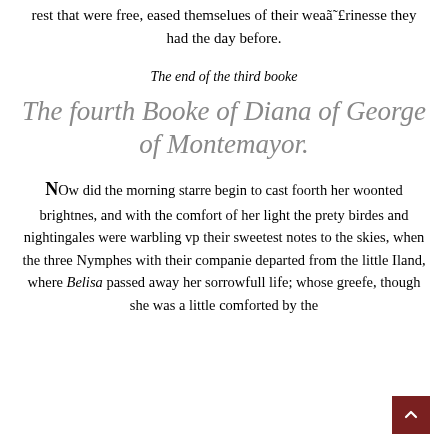rest that were free, eased themselues of their weaã˜£rinesse they had the day before.
The end of the third booke
The fourth Booke of Diana of George of Montemayor.
NOw did the morning starre begin to cast foorth her woonted brightnes, and with the comfort of her light the prety birdes and nightingales were warbling vp their sweetest notes to the skies, when the three Nymphes with their companie departed from the little Iland, where Belisa passed away her sorrowfull life; whose greefe, though she was a little comforted by the